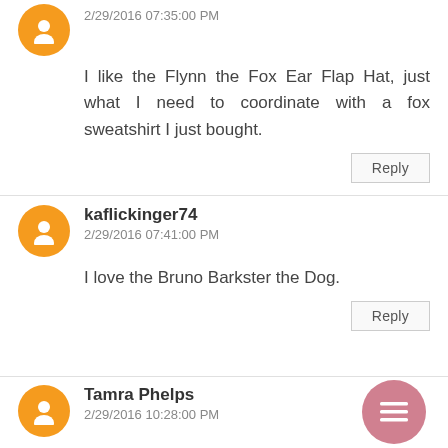2/29/2016 07:35:00 PM
I like the Flynn the Fox Ear Flap Hat, just what I need to coordinate with a fox sweatshirt I just bought.
Reply
kaflickinger74
2/29/2016 07:41:00 PM
I love the Bruno Barkster the Dog.
Reply
Tamra Phelps
2/29/2016 10:28:00 PM
I think Cow-leen the Spotted Cow is too cute for words. lol I love that one.